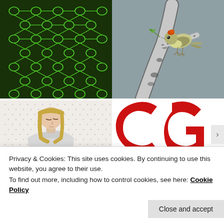[Figure (photo): Close-up of green lace knitting fabric showing open mesh pattern in bright green yarn on dark background]
[Figure (photo): Small bird (goldcrest or similar small songbird) with orange-red crown feathers, perched on a birch branch, holding greenery in its beak, gray blurred background]
[Figure (photo): Young woman with shoulder-length blonde hair, wearing a light gray coat, looking down, standing against a dotted/speckled patterned wallpaper background]
[Figure (logo): Partial red logo showing two large letters 'C G' in red on white background]
Privacy & Cookies: This site uses cookies. By continuing to use this website, you agree to their use.
To find out more, including how to control cookies, see here: Cookie Policy
Close and accept